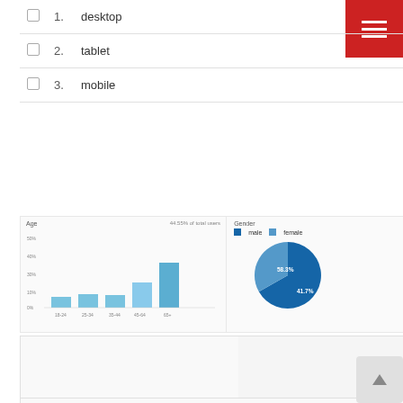|  | # | Device | Sessions |
| --- | --- | --- | --- |
| ☐ | 1. | desktop | 185 (63.79%) |
| ☐ | 2. | tablet | 66 (22.76%) |
| ☐ | 3. | mobile | 39 (13.45%) |
[Figure (bar-chart): Age]
[Figure (pie-chart): Gender]
|  | # | Device | Sessions |
| --- | --- | --- | --- |
|  |  |  | 557
% of Total:
100.00%
(557) |
| ☐ | 1. | desktop | 369 (66.25%) |
| ☐ | 2. | mobile | 103 (18.49%) |